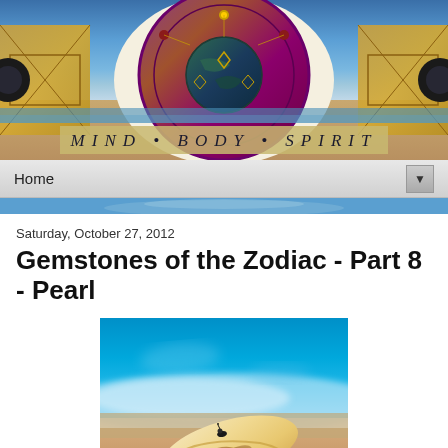[Figure (illustration): Website header banner with mandala/compass rose artwork on a sandy/mosaic background with blue sky. Text reads MIND • BODY • SPIRIT in decorative lettering at the bottom of the banner.]
Home
[Figure (photo): A seashell on a sandy beach with turquoise ocean water in the background, out of focus. A small dark snail or creature is visible on top of the shell.]
Saturday, October 27, 2012
Gemstones of the Zodiac - Part 8 - Pearl